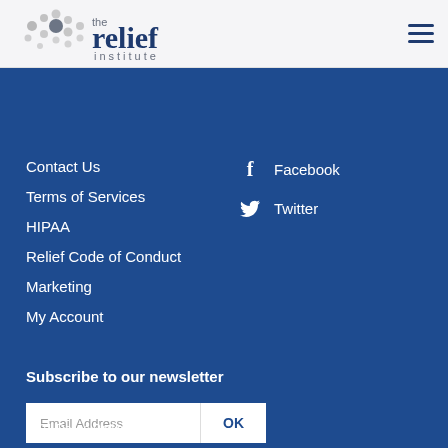the relief institute
Contact Us
Terms of Services
HIPAA
Relief Code of Conduct
Marketing
My Account
Facebook
Twitter
Subscribe to our newsletter
Email Address
OK
Subscribe to our newsletter
The Relief Institute
2591 Dallas Parkway Suite 300